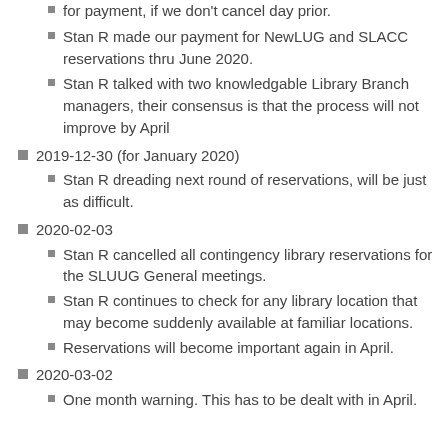for payment, if we don't cancel day prior.
Stan R made our payment for NewLUG and SLACC reservations thru June 2020.
Stan R talked with two knowledgable Library Branch managers, their consensus is that the process will not improve by April
2019-12-30 (for January 2020)
Stan R dreading next round of reservations, will be just as difficult.
2020-02-03
Stan R cancelled all contingency library reservations for the SLUUG General meetings.
Stan R continues to check for any library location that may become suddenly available at familiar locations.
Reservations will become important again in April.
2020-03-02
One month warning. This has to be dealt with in April.